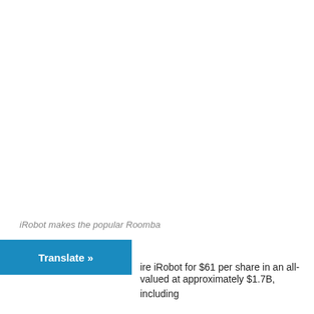iRobot makes the popular Roomba
ire iRobot for $61 per share in an all-valued at approximately $1.7B, including